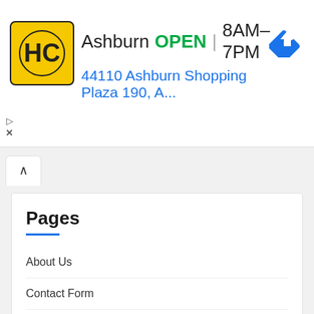[Figure (screenshot): Ad banner showing HC logo, Ashburn location, OPEN status, hours 8AM-7PM, address 44110 Ashburn Shopping Plaza 190, A..., and a blue navigation diamond icon]
Pages
About Us
Contact Form
DMCA
Privacy Policy